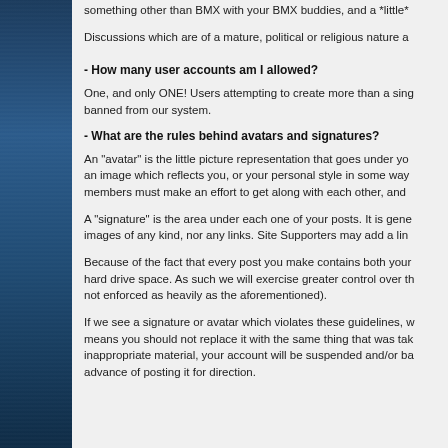something other than BMX with your BMX buddies, and a *little*
Discussions which are of a mature, political or religious nature a
- How many user accounts am I allowed?
One, and only ONE! Users attempting to create more than a sing banned from our system.
- What are the rules behind avatars and signatures?
An "avatar" is the little picture representation that goes under yo an image which reflects you, or your personal style in some way members must make an effort to get along with each other, and
A "signature" is the area under each one of your posts. It is gene images of any kind, nor any links. Site Supporters may add a lin
Because of the fact that every post you make contains both your hard drive space. As such we will exercise greater control over th not enforced as heavily as the aforementioned).
If we see a signature or avatar which violates these guidelines, w means you should not replace it with the same thing that was tak inappropriate material, your account will be suspended and/or ba advance of posting it for direction.